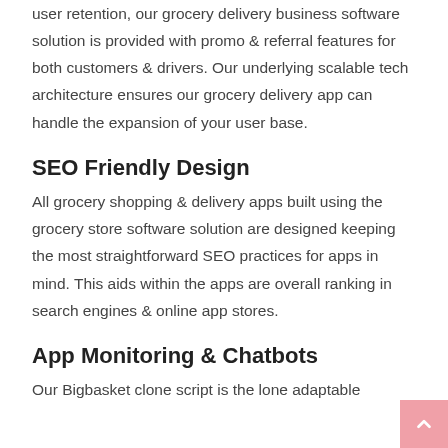user retention, our grocery delivery business software solution is provided with promo & referral features for both customers & drivers. Our underlying scalable tech architecture ensures our grocery delivery app can handle the expansion of your user base.
SEO Friendly Design
All grocery shopping & delivery apps built using the grocery store software solution are designed keeping the most straightforward SEO practices for apps in mind. This aids within the apps are overall ranking in search engines & online app stores.
App Monitoring & Chatbots
Our Bigbasket clone script is the lone adaptable